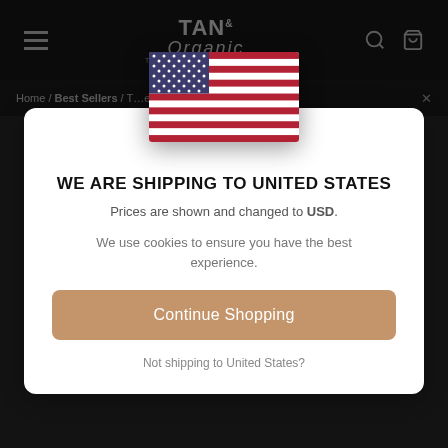TAN Organic
Home / Best Sellers / T... ese - 120ml ×
[Figure (illustration): US flag with stars and stripes]
WE ARE SHIPPING TO UNITED STATES
Prices are shown and changed to USD.
We use cookies to ensure you have the best experience.
Continue Shopping
Not shipping to United States?